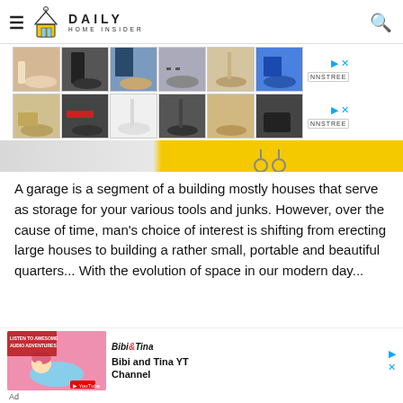Daily Home Insider
[Figure (photo): Two rows of shoe advertisement thumbnails showing various women's shoes (heels, boots, sandals, flats) with nnstree branding and play/close controls]
[Figure (photo): Partial garage image with yellow background strip visible]
A garage is a segment of a building mostly houses that serve as storage for your various tools and junks. However, over the cause of time, man's choice of interest is shifting from erecting large houses to building a rather small, portable and beautiful quarters... With the evolution of space in our modern day...
[Figure (illustration): Bibi and Tina YT Channel advertisement banner showing cartoon girl lying down listening to audio adventures on pink background with YouTube icon]
Ad